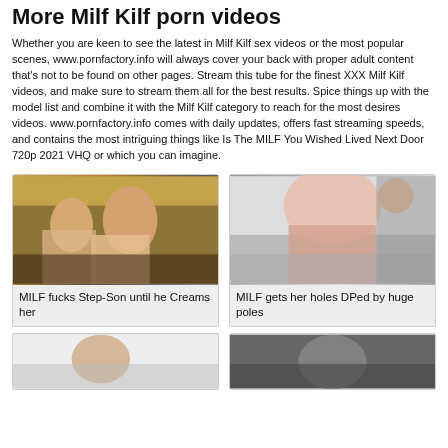More Milf Kilf porn videos
Whether you are keen to see the latest in Milf Kilf sex videos or the most popular scenes, www.pornfactory.info will always cover your back with proper adult content that's not to be found on other pages. Stream this tube for the finest XXX Milf Kilf videos, and make sure to stream them all for the best results. Spice things up with the model list and combine it with the Milf Kilf category to reach for the most desires videos. www.pornfactory.info comes with daily updates, offers fast streaming speeds, and contains the most intriguing things like Is The MILF You Wished Lived Next Door 720p 2021 VHQ or which you can imagine.
[Figure (photo): Thumbnail of MILF fucks Step-Son until he Creams her]
MILF fucks Step-Son until he Creams her
[Figure (photo): Thumbnail of MILF gets her holes DPed by huge poles]
MILF gets her holes DPed by huge poles
[Figure (photo): Bottom left thumbnail]
[Figure (photo): Bottom right thumbnail]